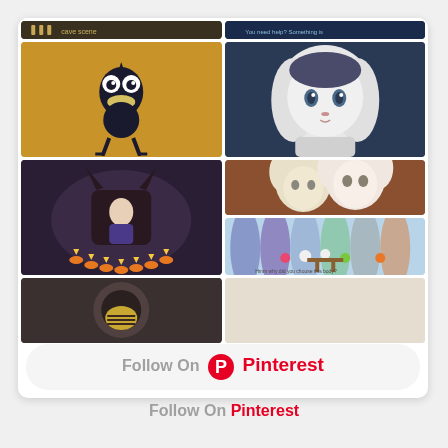[Figure (screenshot): Pinterest board grid showing anime/cartoon screenshots arranged in two columns. Top partial row shows dark cave scene and dark blue scene. Second row shows a dark cartoon bird/creature on golden background and an anime dog-girl character on teal background. Third row shows dark ritual scene with candles and two dog-like cartoon characters hugging on brown/red background, plus a colorful arch/hallway scene below. Fourth row shows a partial brown/dark scene and a light beige scene.]
Follow On Pinterest